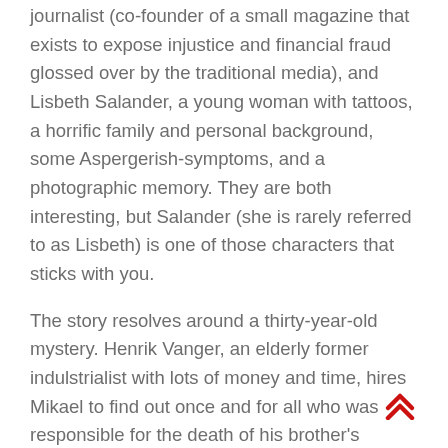journalist (co-founder of a small magazine that exists to expose injustice and financial fraud glossed over by the traditional media), and Lisbeth Salander, a young woman with tattoos, a horrific family and personal background, some Aspergerish-symptoms, and a photographic memory. They are both interesting, but Salander (she is rarely referred to as Lisbeth) is one of those characters that sticks with you.
The story resolves around a thirty-year-old mystery. Henrik Vanger, an elderly former indulstrialist with lots of money and time, hires Mikael to find out once and for all who was responsible for the death of his brother's daughter Harriet. Salander comes into this investigation through some backdoors, and finds that Mikael is one of the few people in the world who are neither intimidated nor infuriated by her. And so they set off to sort through what turns out to be a very complex story involving almost all of the viperous Vanger clan.